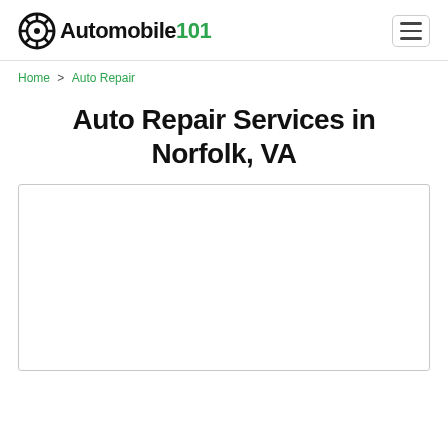Automobile101
Home > Auto Repair
Auto Repair Services in Norfolk, VA
[Figure (map): Empty white map placeholder area with a light gray border]